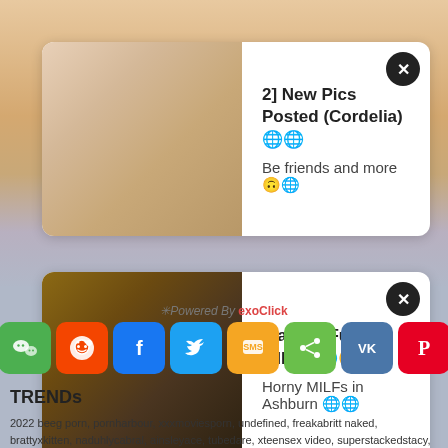[Figure (screenshot): Notification popup card 1: image on left, text '2] New Pics Posted (Cordelia) 🌐 Be friends and more 🙃' on right, X close button top-right]
[Figure (screenshot): Notification popup card 2: image of woman on left, text 'Want to Fuck a MILF? 🌐🙂 Horny MILFs in Ashburn 🌐🌐' on right, X close button top-right]
Powered By exoClick
[Figure (infographic): Social share buttons row: WeChat (green), Reddit (orange), Facebook (blue), Twitter (light blue), SMS (yellow), Share (green), VK (steel blue), Pinterest (red)]
TRENDs
2022 beeg porn, pornharbour, xxxmoviesporn, undefined, freakabritt naked, brattyxkitten, naduhlycabral, ainsleyace, tubedare, xteensex video, superstackedstacy, jasminx, inkedlusi, gay, se video download 3gp no, herexxxtube, indian, maggi00000, funsizedasian, xvideosporn, malay, lila irwan, xxxxxxx movies, sextubes, son forced sex mom sex videos, freakabritt, valeriewhitebby, ema-uncensored, therealvaneyoga, familiy porn inciest, pakistan beautiful girls 18 year xxx video downloa in hdbrazzers johnysins all videos, tillyktv, alessiasaysso, www redwap com 4k video film hot, melay gogirltv, secretlifeofsophiex, fawnykid, woahhtee, brujaxmami, southernjay, ellcrys, mom, moodyvirgo777, jettagain, flamefoxx, cspranklerun, dulcey_john, livanddrew, niks indian, onlymariah lilliandjem, honornert, mom sexxx anal, tattooedtwink69, nobita and shizuka in doraemon carto